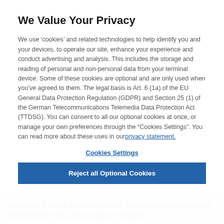We Value Your Privacy
We use ‘cookies’ and related technologies to help identify you and your devices, to operate our site, enhance your experience and conduct advertising and analysis. This includes the storage and reading of personal and non-personal data from your terminal device. Some of these cookies are optional and are only used when you’ve agreed to them. The legal basis is Art. 6 (1a) of the EU General Data Protection Regulation (GDPR) and Section 25 (1) of the German Telecommunications Telemedia Data Protection Act (TTDSG). You can consent to all our optional cookies at once, or manage your own preferences through the “Cookies Settings”. You can read more about these uses in our privacy statement.
Cookies Settings
Reject all Optional Cookies
organized finance departments are facing recurring questions as to whether the various finance functions